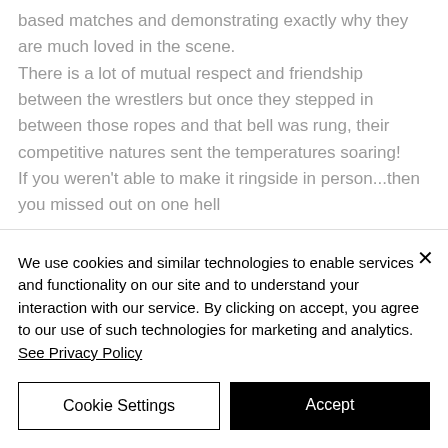based matches and demonstrating exactly why they are much loved in the scene. There is a lot of mutual respect and friendship between the wrestlers but once they stepped in between those ropes and that bell was rung, their competitive natures sent the temperatures soaring! If you weren't able to make it ringside in person...then you missed out on one hell
We use cookies and similar technologies to enable services and functionality on our site and to understand your interaction with our service. By clicking on accept, you agree to our use of such technologies for marketing and analytics. See Privacy Policy
Cookie Settings
Accept